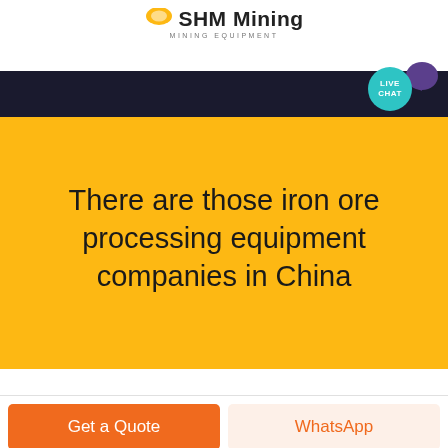SHM Mining MINING EQUIPMENT
[Figure (logo): SHM Mining logo with yellow arc/circle graphic, bold text 'SHM Mining' and subtitle 'MINING EQUIPMENT']
[Figure (screenshot): Dark navigation bar with LIVE CHAT teal bubble and purple speech bubble icon on the right side]
There are those iron ore processing equipment companies in China
Get a Quote
WhatsApp